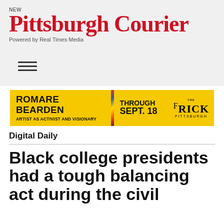NEW Pittsburgh Courier
Powered by Real Times Media
[Figure (other): Hamburger menu icon with three horizontal lines]
[Figure (other): Advertisement banner for Romare Bearden: Artist as Activist and Visionary at The Frick Pittsburgh, Through Sept. 18]
Digital Daily
Black college presidents had a tough balancing act during the civil